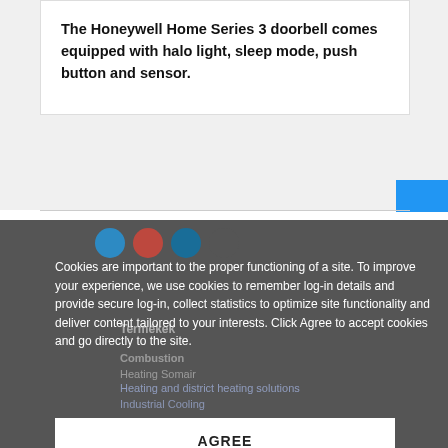The Honeywell Home Series 3 doorbell comes equipped with halo light, sleep mode, push button and sensor.
Cookies are important to the proper functioning of a site. To improve your experience, we use cookies to remember log-in details and provide secure log-in, collect statistics to optimize site functionality and deliver content tailored to your interests. Click Agree to accept cookies and go directly to the site.
Termékek
Combustion
Heating Somair
Heating and district heating solutions
Industrial Cooling
AGREE
Weboldalaink